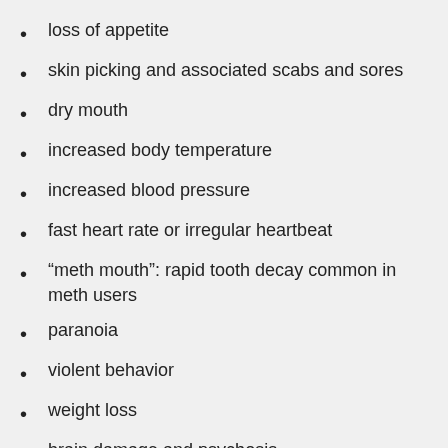loss of appetite
skin picking and associated scabs and sores
dry mouth
increased body temperature
increased blood pressure
fast heart rate or irregular heartbeat
“meth mouth”: rapid tooth decay common in meth users
paranoia
violent behavior
weight loss
brain damage and psychosis
organ failure
increased risk of hepatitis and other infectious diseases (from sharing needles)